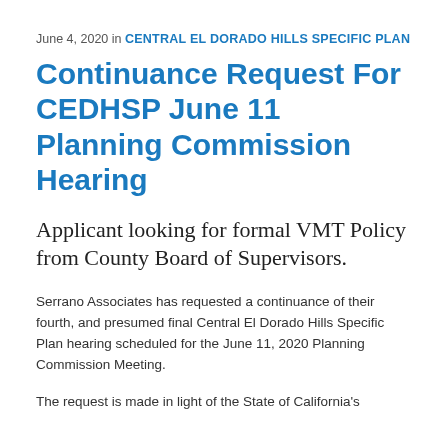June 4, 2020 in CENTRAL EL DORADO HILLS SPECIFIC PLAN
Continuance Request For CEDHSP June 11 Planning Commission Hearing
Applicant looking for formal VMT Policy from County Board of Supervisors.
Serrano Associates has requested a continuance of their fourth, and presumed final Central El Dorado Hills Specific Plan hearing scheduled for the June 11, 2020 Planning Commission Meeting.
The request is made in light of the State of California's